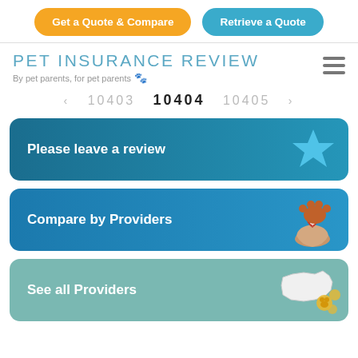Get a Quote & Compare | Retrieve a Quote
PET INSURANCE REVIEW
By pet parents, for pet parents 🐾
‹  10403  10404  10405  ›
[Figure (screenshot): Please leave a review button with blue star icon]
[Figure (screenshot): Compare by Providers button with paw and hand with dollar sign icon]
[Figure (screenshot): See all Providers button with US map and gold paw icons]